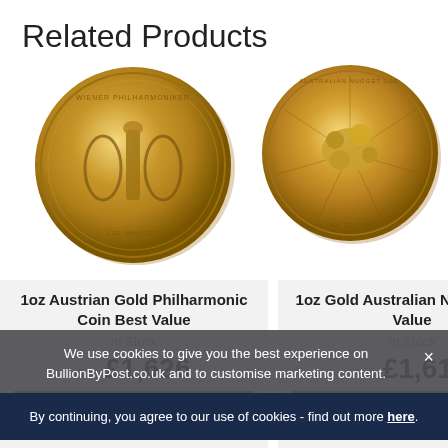Related Products
[Figure (photo): Gold coin - 1oz Austrian Gold Philharmonic Coin]
[Figure (photo): Gold coin - 1oz Gold Australian Nugget]
1oz Austrian Gold Philharmonic Coin Best Value
In Stock
from £1,626
1oz Gold Australian Nugget Best Value
In Stock
from £1,619
We use cookies to give you the best experience on BullionByPost.co.uk and to customise marketing content.
By continuing, you agree to our use of cookies - find out more here.